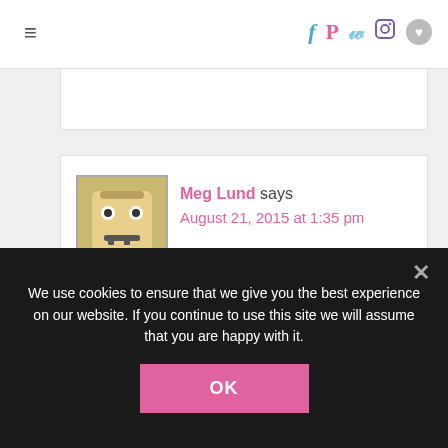☰  [social icons: f p t instagram heart]
Meg Lund says
August 21, 2015 at 1:35 pm
I really like the suggestion you give to make sure to call the insurance
[Figure (screenshot): Seamless food ordering ad banner with pizza image, seamless logo in red, and ORDER NOW button]
We use cookies to ensure that we give you the best experience on our website. If you continue to use this site we will assume that you are happy with it.
OK